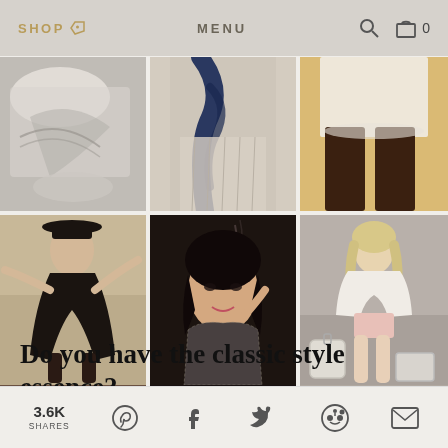SHOP  MENU  🔍  🛒 0
[Figure (photo): Six fashion photos arranged in a 3x2 grid: top row shows close-ups of women's clothing (white/grey draped fabric, navy scarf with pleated skirt, white shorts with bare legs); bottom row shows three women modeling fashion (woman in black hat and black dress, Asian woman in sequined top smoking, blonde woman in white mini dress with luggage).]
Do you have the classic style essence?
3.6K SHARES  Pinterest  Facebook  Twitter  Reddit  Email